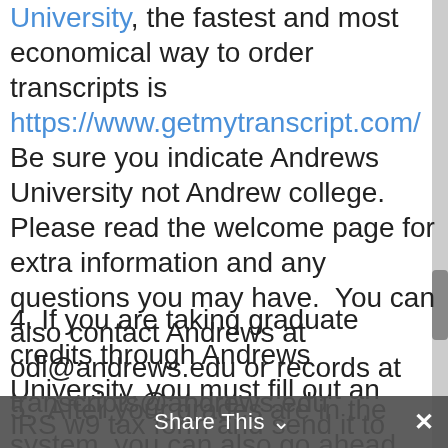University, the fastest and most economical way to order transcripts is https://www.getmytranscript.com/   Be sure you indicate Andrews University not Andrew college.  Please read the welcome page for extra information and any questions you may have.  You can also contact Andrews at odl@andrews.edu or records at transcripts@andrews.edu
4. If you are taking graduate credits through Andrews University, you must fill out an IRS w9 tax form and send it to Andrews University.  You can find the form here.   Instructions on how to send it are included on the form.
5.  After your grades are in the system, you can also go ahead and order your